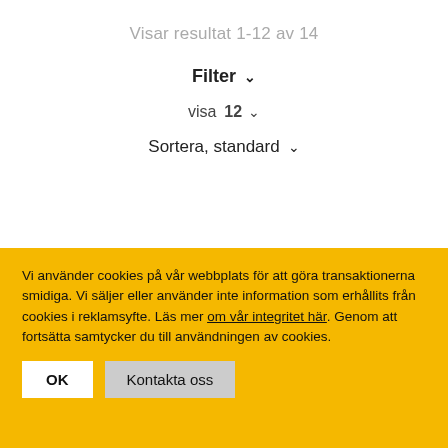Visar resultat 1-12 av 14
Filter ∨
visa 12 ∨
Sortera, standard ∨
Vi använder cookies på vår webbplats för att göra transaktionerna smidiga. Vi säljer eller använder inte information som erhållits från cookies i reklamsyfte. Läs mer om vår integritet här. Genom att fortsätta samtycker du till användningen av cookies.
OK
Kontakta oss